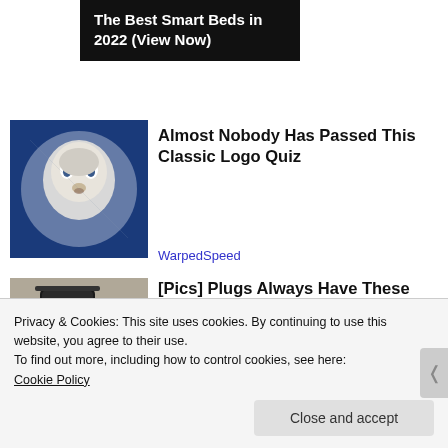[Figure (screenshot): Ad banner: The Best Smart Beds in 2022 (View Now) on black background]
[Figure (photo): Thumbnail of baby face drawing on blue background]
Almost Nobody Has Passed This Classic Logo Quiz
WarpedSpeed
[Figure (photo): Thumbnail of black electrical plug close-up]
[Pics] Plugs Always Have These Two Holes, Here's Why
Privacy & Cookies: This site uses cookies. By continuing to use this website, you agree to their use.
To find out more, including how to control cookies, see here:
Cookie Policy
Close and accept